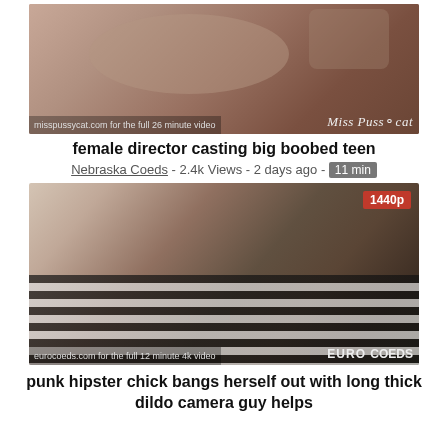[Figure (photo): Video thumbnail showing a person on a bed, with watermark text 'misspussycat.com for the full 26 minute video' and 'Miss Pussycat' branding]
female director casting big boobed teen
Nebraska Coeds - 2.4k Views - 2 days ago - 11 min
[Figure (photo): Video thumbnail in 1440p showing items on a striped towel, with watermark 'eurocoeds.com for the full 12 minute 4k video' and 'EURO COEDS' branding]
punk hipster chick bangs herself out with long thick dildo camera guy helps